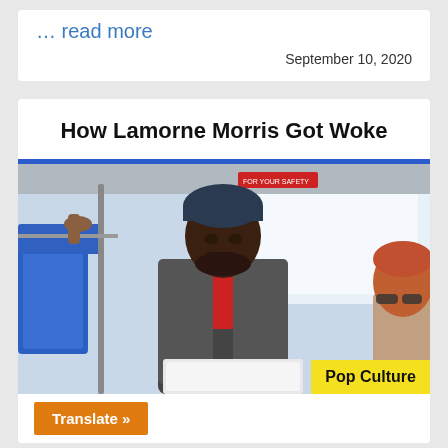… read more
September 10, 2020
How Lamorne Morris Got Woke
[Figure (photo): A man wearing a dark beanie hat and gray jacket over a red shirt, sitting on a public transit bus with blue seats. He is looking to the side. A woman with glasses and reddish hair is partially visible on the right side. The interior of the bus is visible including windows and bus safety sign.]
Pop Culture
Translate »